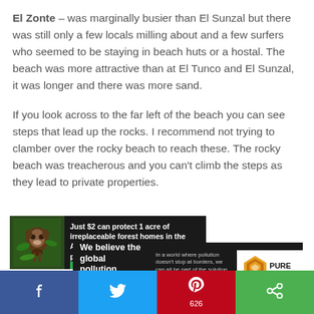El Zonte – was marginally busier than El Sunzal but there was still only a few locals milling about and a few surfers who seemed to be staying in beach huts or a hostal. The beach was more attractive than at El Tunco and El Sunzal, it was longer and there was more sand.
If you look across to the far left of the beach you can see steps that lead up the rocks. I recommend not trying to clamber over the rocky beach to reach these. The rocky beach was treacherous and you can't climb the steps as they lead to private properties.
[Figure (screenshot): Amazon rainforest conservation advertisement: 'Just $2 can protect 1 acre of irreplaceable forest homes in the Amazon. How many acres will you protect?' with green PROTECT FORESTS NOW button, dark background with monkey image.]
[Figure (screenshot): Pure Earth advertisement: 'We believe the global pollution crisis can be solved.' with text 'In a world where pollution doesn't stop at borders, we can all be part of the solution. JOIN US.' and Pure Earth logo with diamond icon.]
[Figure (infographic): Social media sharing bar with Facebook (blue), Twitter (light blue), Pinterest (red, showing 626), and another share button (green).]